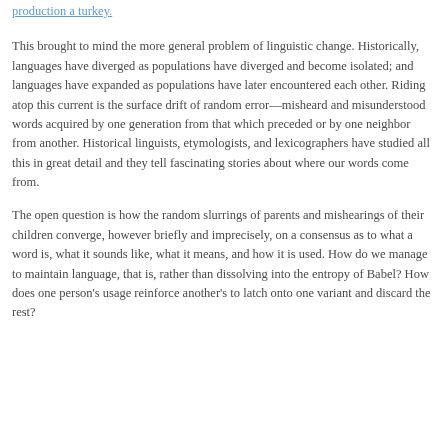production a turkey.
This brought to mind the more general problem of linguistic change. Historically, languages have diverged as populations have diverged and become isolated; and languages have expanded as populations have later encountered each other. Riding atop this current is the surface drift of random error—misheard and misunderstood words acquired by one generation from that which preceded or by one neighbor from another. Historical linguists, etymologists, and lexicographers have studied all this in great detail and they tell fascinating stories about where our words come from.
The open question is how the random slurrings of parents and mishearings of their children converge, however briefly and imprecisely, on a consensus as to what a word is, what it sounds like, what it means, and how it is used. How do we manage to maintain language, that is, rather than dissolving into the entropy of Babel? How does one person's usage reinforce another's to latch onto one variant and discard the rest?